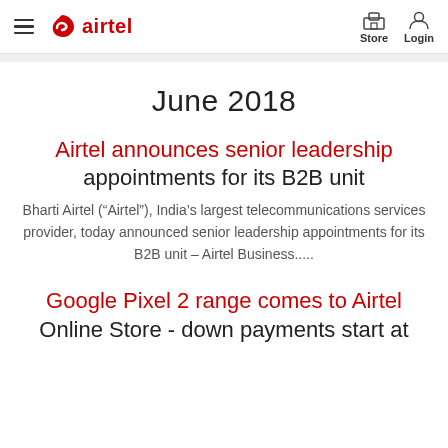airtel — Store   Login
June 2018
Airtel announces senior leadership appointments for its B2B unit
Bharti Airtel (“Airtel”), India’s largest telecommunications services provider, today announced senior leadership appointments for its B2B unit – Airtel Business.....
Google Pixel 2 range comes to Airtel Online Store - down payments start at approximately Rs 12,500